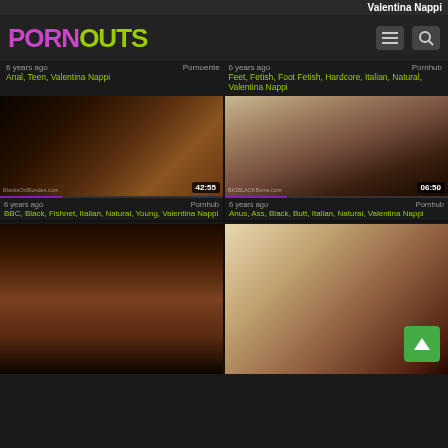Valentina Nappi
[Figure (screenshot): PORNOUTS website logo with purple PORN and green OUTS text, hamburger menu icon and search icon on dark background]
6 years ago  Pornoente
Anal, Teen, Valentina Nappi
6 years ago  Pornhub
Feet, Fetish, Foot Fetish, Hardcore, Italian, Natural, Valentina Nappi
[Figure (photo): Video thumbnail showing adult content, duration 42:55, watermark BlacksOnBlondes.com]
[Figure (photo): Video thumbnail showing adult content on couch, duration 06:50, watermark BIGBLACK Bums.com]
6 years ago  Pornhub
BBC, Black, Fishnet, Italian, Natural, Young, Valentina Nappi
6 years ago  Pornhub
Anus, Ass, Black, Butt, Italian, Natural, Valentina Nappi
[Figure (photo): Video thumbnail showing adult content, dark tones]
[Figure (photo): Video thumbnail showing adult content with back-to-top button overlay]